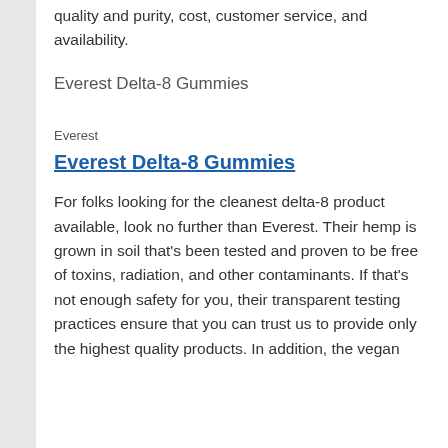quality and purity, cost, customer service, and availability.
Everest Delta-8 Gummies
Everest
Everest Delta-8 Gummies
For folks looking for the cleanest delta-8 product available, look no further than Everest. Their hemp is grown in soil that’s been tested and proven to be free of toxins, radiation, and other contaminants. If that’s not enough safety for you, their transparent testing practices ensure that you can trust us to provide only the highest quality products. In addition, the vegan